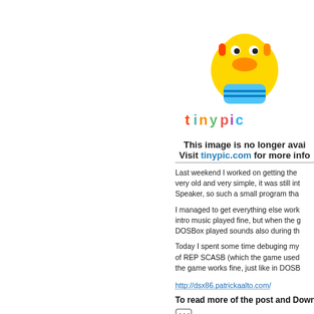[Figure (illustration): Tinypic.com placeholder image showing a cartoon yellow bird character and the tinypic logo with text 'This image is no longer avai...' and 'Visit tinypic.com for more info...']
Last weekend I worked on getting the [text cut off] very old and very simple, it was still int[eresting] Speaker, so such a small program tha[t]
I managed to get everything else work[ing] intro music played fine, but when the g[ame] DOSBox played sounds also during th[e]
Today I spent some time debuging my [code] of REP SCASB (which the game used[...]) the game works fine, just like in DOSB[ox]
http://dsx86.patrickaalto.com/
To read more of the post and Download, cli[ck]
Join In and Discuss Here
Submit News and Releases Here and Contact